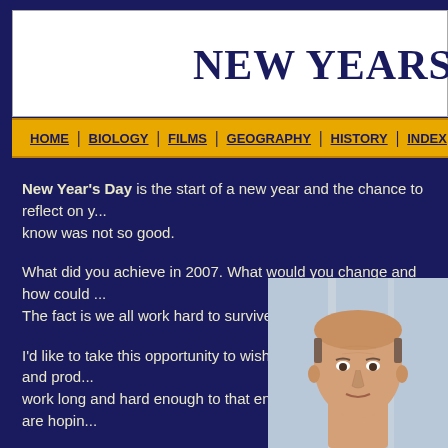NEW YEARS DA
HOME | BIOLOGY | FILMS | GEOGRAPHY | HISTORY | INDEX | INVEST
New Year's Day is the start of a new year and the chance to reflect on y... know was not so good.
What did you achieve in 2007. What would you change and how could... The fact is we all work hard to survive and build a future.
I'd like to take this opportunity to wish everyone a very happy and prod... work long and hard enough to that end, you may get what you are hopin...
[Figure (photo): Portrait photo of a middle-aged bald man, appearing to be outdoors near some structure.]